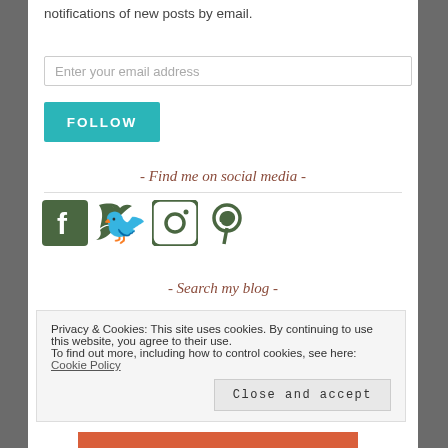notifications of new posts by email.
Enter your email address
FOLLOW
- Find me on social media -
[Figure (illustration): Four social media icons: Facebook, Twitter, Instagram, Pinterest — all in dark olive/green color]
- Search my blog -
Privacy & Cookies: This site uses cookies. By continuing to use this website, you agree to their use.
To find out more, including how to control cookies, see here: Cookie Policy
Close and accept